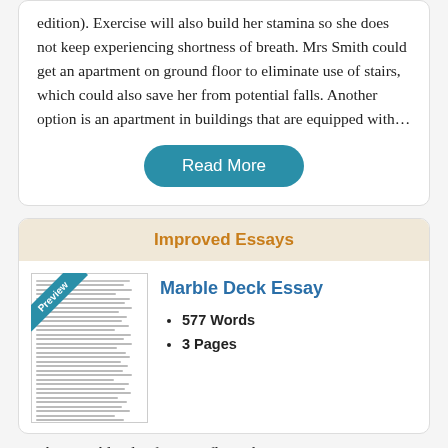edition). Exercise will also build her stamina so she does not keep experiencing shortness of breath. Mrs Smith could get an apartment on ground floor to eliminate use of stairs, which could also save her from potential falls. Another option is an apartment in buildings that are equipped with…
Read More
Improved Essays
Marble Deck Essay
577 Words
3 Pages
you buy marble tiles for your floor, there are